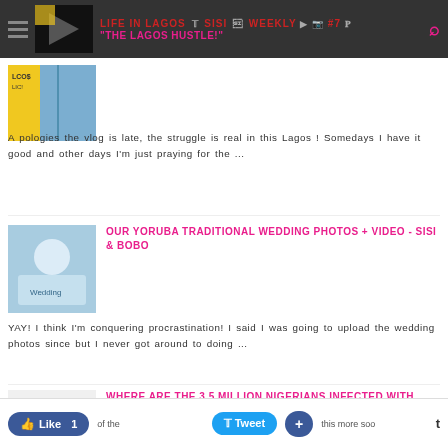LIFE IN LAGOS SISI WEEKLY #7: "THE LAGOS HUSTLE!"
[Figure (photo): Thumbnail image for Lagos Hustle vlog post]
Apologies the vlog is late, the struggle is real in this Lagos ! Somedays I have it good and other days I'm just praying for the ...
[Figure (photo): Thumbnail image showing couple in traditional Yoruba attire]
OUR YORUBA TRADITIONAL WEDDING PHOTOS + VIDEO - SISI & BOBO
YAY! I think I'm conquering procrastination! I said I was going to upload the wedding photos since but I never got around to doing ...
[Figure (photo): World AIDS Day poster thumbnail]
WHERE ARE THE 3.5 MILLION NIGERIANS INFECTED WITH HIV/AIDS? BY DIMOSTHENIS SAKELLARIT...
Like 1  Tweet  +